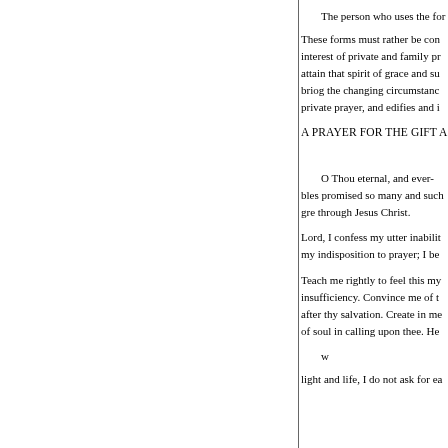The person who uses the for
These forms must rather be con interest of private and family pr attain that spirit of grace and su briog the changing circumstanc private prayer, and edifies and i
A PRAYER FOR THE GIFT A
O Thou eternal, and ever-bles promised so many and such gre through Jesus Christ.
Lord, I confess my utter inabilit my indisposition to prayer; I be
Teach me rightly to feel this my insufficiency. Convince me of t after thy salvation. Create in me of soul in calling upon thee. He
w
light and life, I do not ask for ea